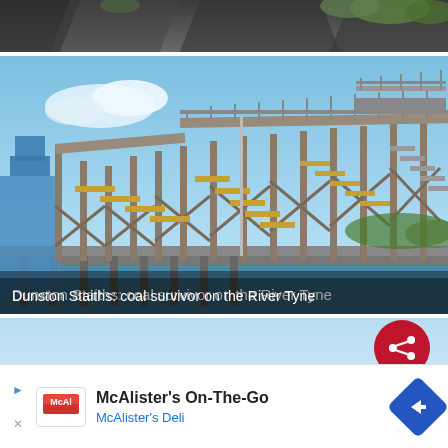[Figure (photo): Partial top image showing dark rocky terrain and green vegetation, partially cropped at top of page]
[Figure (photo): Photo of Dunston Staiths - a large historic wooden coal loading structure with walkways, beams, and staircases on the River Tyne, with blue sky and water visible]
Dunston Staiths: coal survivor on the River Tyne
[Figure (screenshot): Partial bottom image showing light blue sky/water with a red circular share button overlay in lower right]
McAlister's On-The-Go
McAlister's Deli